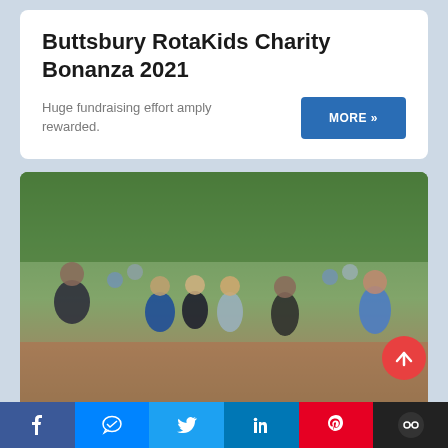Buttsbury RotaKids Charity Bonanza 2021
Huge fundraising effort amply rewarded.
[Figure (photo): Group photo of children and adults outdoors in a schoolyard with trees, some wearing face masks, one adult holding a certificate]
Quilters Dementia Award
f   [Messenger]   [Twitter]   in   P   [CO]